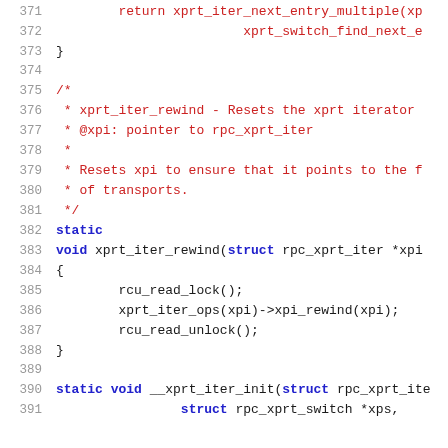Code listing lines 371-391: C source code showing xprt_iter_rewind function and surrounding context
[Figure (screenshot): Source code viewer showing C code lines 371-391 with line numbers in grey on left and code in dark/blue/red colors. Lines 371-372 show a return statement, 373 closes a brace, 375-381 show a block comment for xprt_iter_rewind, 382-388 show the static void xprt_iter_rewind function implementation with rcu_read_lock, xprt_iter_ops, and rcu_read_unlock calls, and 390-391 begin the __xprt_iter_init function.]